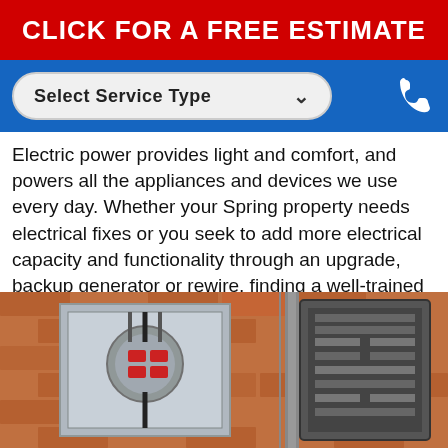CLICK FOR A FREE ESTIMATE
[Figure (screenshot): Blue service bar with 'Select Service Type' dropdown and phone icon on blue background]
Electric power provides light and comfort, and powers all the appliances and devices we use every day. Whether your Spring property needs electrical fixes or you seek to add more electrical capacity and functionality through an upgrade, backup generator or rewire, finding a well-trained electrician should be at the top of your list of priorities as a home or business owner.GFCI Replacement, Correct Electrical Code Violation Spring, Texas
[Figure (photo): Photo of electrical panel/meter box mounted on a brick wall, showing wiring and components; two panels visible side by side on brick background]